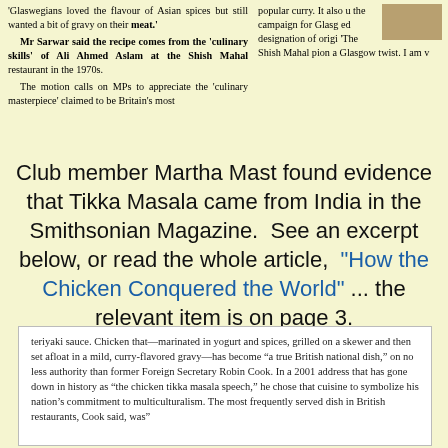'Glaswegians loved the flavour of Asian spices but still wanted a bit of gravy on their meat.'
  Mr Sarwar said the recipe comes from the 'culinary skills' of Ali Ahmed Aslam at the Shish Mahal restaurant in the 1970s.
  The motion calls on MPs to appreciate the 'culinary masterpiece' claimed to be Britain's most
popular curry. It also u the campaign for Glasg ed designation of origi 'The Shish Mahal pion a Glasgow twist. I am v
Club member Martha Mast found evidence that Tikka Masala came from India in the Smithsonian Magazine.  See an excerpt below, or read the whole article,  "How the Chicken Conquered the World" ... the relevant item is on page 3.
teriyaki sauce. Chicken that—marinated in yogurt and spices, grilled on a skewer and then set afloat in a mild, curry-flavored gravy—has become “a true British national dish,” on no less authority than former Foreign Secretary Robin Cook. In a 2001 address that has gone down in history as “the chicken tikka masala speech,” he chose that cuisine to symbolize his nation’s commitment to multiculturalism. The most frequently served dish in British restaurants, Cook said, was”